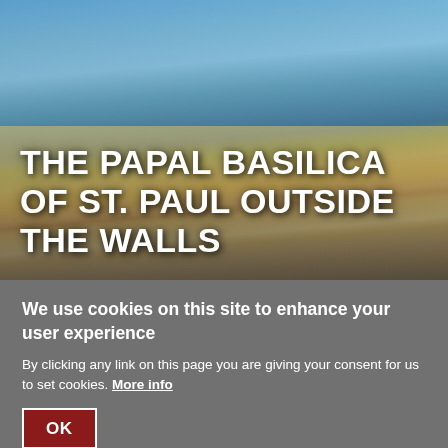[Figure (photo): Photograph of the Papal Basilica of St. Paul Outside the Walls in Rome, showing the ornate yellow facade with mosaics, classical columns, and a statue in front, with palm trees and blue sky in the background. White overlaid text reads 'THE PAPAL BASILICA OF ST. PAUL OUTSIDE THE WALLS'.]
We use cookies on this site to enhance your user experience
By clicking any link on this page you are giving your consent for us to set cookies. More info
OK